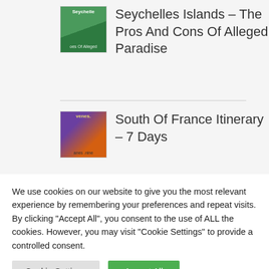[Figure (screenshot): Thumbnail image for Seychelles Islands article – tropical greenery with text overlay]
Seychelles Islands – The Pros And Cons Of Alleged Paradise
[Figure (screenshot): Thumbnail image for South Of France Itinerary article – vintage orange car on purple background]
South Of France Itinerary – 7 Days
We use cookies on our website to give you the most relevant experience by remembering your preferences and repeat visits. By clicking "Accept All", you consent to the use of ALL the cookies. However, you may visit "Cookie Settings" to provide a controlled consent.